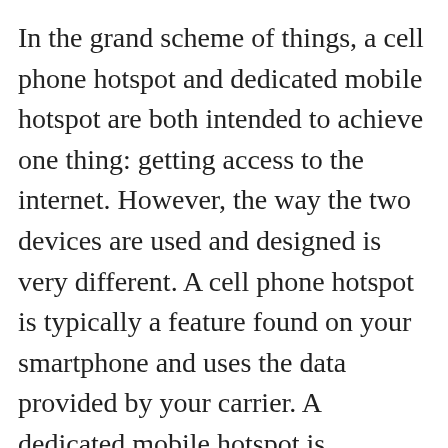In the grand scheme of things, a cell phone hotspot and dedicated mobile hotspot are both intended to achieve one thing: getting access to the internet. However, the way the two devices are used and designed is very different. A cell phone hotspot is typically a feature found on your smartphone and uses the data provided by your carrier. A dedicated mobile hotspot is generally a separate device, like the TravlFi Journey1. As an RVer, you want your device to get internet in your RV whenever you need it. The TravlFi Journey1 uses virtual SIM technology, which brings you coverage where you need it most. Virtual SIM technology allows the device to change towers, find the strongest cellular signal in your area, and automatically